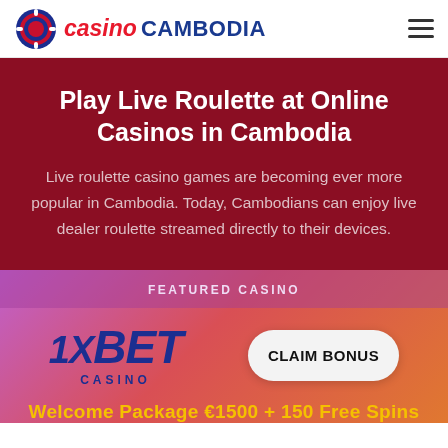casino CAMBODIA
Play Live Roulette at Online Casinos in Cambodia
Live roulette casino games are becoming ever more popular in Cambodia. Today, Cambodians can enjoy live dealer roulette streamed directly to their devices.
FEATURED CASINO
[Figure (logo): 1XBET CASINO logo]
CLAIM BONUS
Welcome Package €1500 + 150 Free Spins